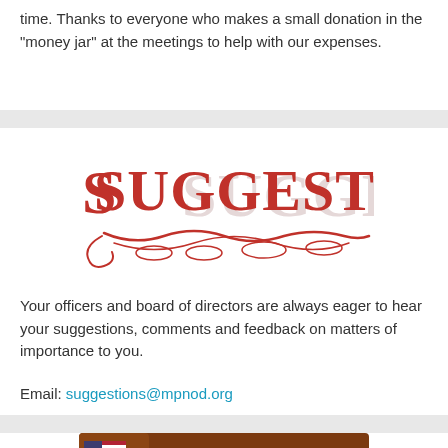time. Thanks to everyone who makes a small donation in the "money jar" at the meetings to help with our expenses.
[Figure (illustration): Decorative 'SUGGESTIONS' text logo in red with ornate lettering and a curled underline flourish]
Your officers and board of directors are always eager to hear your suggestions, comments and feedback on matters of importance to you.
Email: suggestions@mpnod.org
[Figure (illustration): Brown banner with 'VOLUNTEER' text and a boy scout saluting with an American flag on the left side]